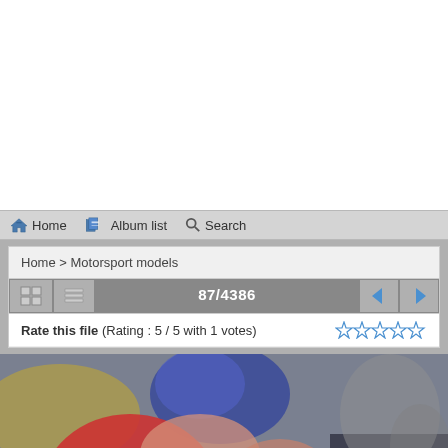Home | Album list | Search
Home > Motorsport models
87/4386
Rate this file (Rating : 5 / 5 with 1 votes)
[Figure (photo): Close-up photo of people, one wearing a red outfit and another with dark hair, outdoors with blurred background]